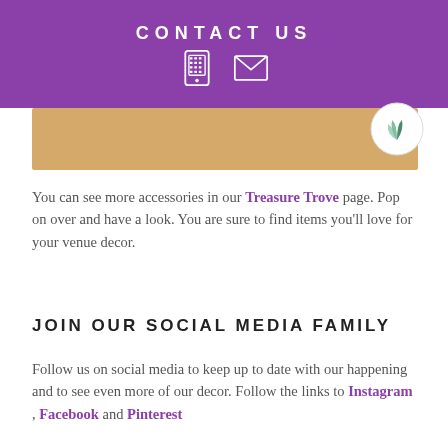CONTACT US
[Figure (illustration): Purple header bar with 'CONTACT US' text and phone and mail icons]
[Figure (photo): Tan/beige banner image with a logo in the top right corner]
You can see more accessories in our Treasure Trove page. Pop on over and have a look. You are sure to find items you'll love for your venue decor.
JOIN OUR SOCIAL MEDIA FAMILY
Follow us on social media to keep up to date with our happening and to see even more of our decor. Follow the links to Instagram , Facebook and Pinterest